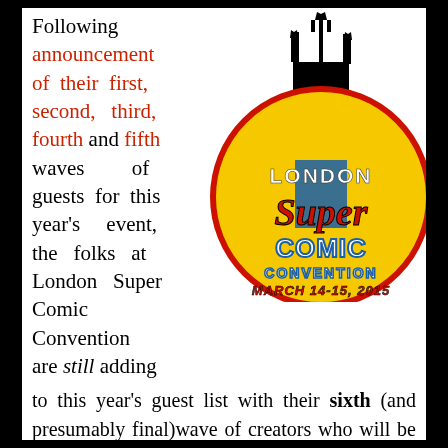Following announcement of their first, second, third, fourth and fifth waves of guests for this year's event, the folks at London Super Comic Convention are still adding to this year's guest list with their sixth (and presumably final) wave of creators who will be making their appearance at London's Excel next
[Figure (logo): London Super Comic Convention logo — circular yellow and red logo with silhouette of a building/spire, text reading LONDON Super Comic Convention, March 14-15, 2015]